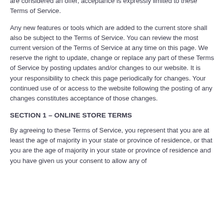not access the website or use any Services. If these Terms of Service are considered an offer, acceptance is expressly limited to these Terms of Service.
Any new features or tools which are added to the current store shall also be subject to the Terms of Service. You can review the most current version of the Terms of Service at any time on this page. We reserve the right to update, change or replace any part of these Terms of Service by posting updates and/or changes to our website. It is your responsibility to check this page periodically for changes. Your continued use of or access to the website following the posting of any changes constitutes acceptance of those changes.
SECTION 1 – ONLINE STORE TERMS
By agreeing to these Terms of Service, you represent that you are at least the age of majority in your state or province of residence, or that you are the age of majority in your state or province of residence and you have given us your consent to allow any of